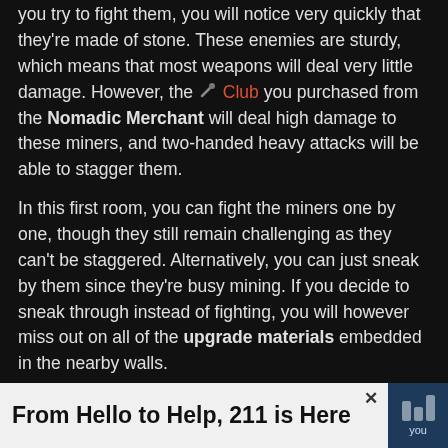you try to fight them, you will notice very quickly that they're made of stone. These enemies are sturdy, which means that most weapons will deal very little damage. However, the Club you purchased from the Nomadic Merchant will deal high damage to these miners, and two-handed heavy attacks will be able to stagger them.
In this first room, you can fight the miners one by one, though they still remain challenging as they can't be staggered. Alternatively, you can just sneak by them since they're busy mining. If you decide to sneak through instead of fighting, you will however miss out on all of the upgrade materials embedded in the nearby walls.
Once you go down the stairs or drop down, make sure to visit the room behind you that has three rats guardin
[Figure (screenshot): Advertisement banner: 'From Hello to Help, 211 is Here' with close button and icon]